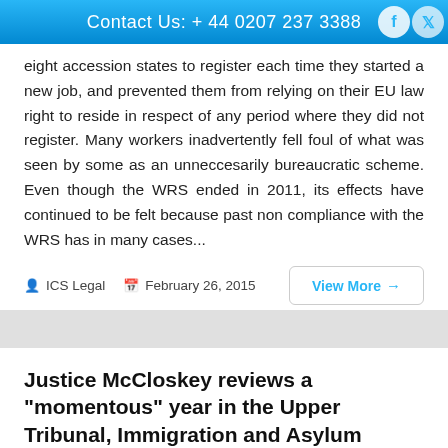Contact Us: + 44 0207 237 3388
eight accession states to register each time they started a new job, and prevented them from relying on their EU law right to reside in respect of any period where they did not register. Many workers inadvertently fell foul of what was seen by some as an unneccesarily bureaucratic scheme. Even though the WRS ended in 2011, its effects have continued to be felt because past non compliance with the WRS has in many cases...
ICS Legal   February 26, 2015
Justice McCloskey reviews a “momentous” year in the Upper Tribunal, Immigration and Asylum Chamber
Justice McCloskey reviews a "momentous" year in the Upper Tribunal, Immigration and Asylum Chamber 17 February 2015